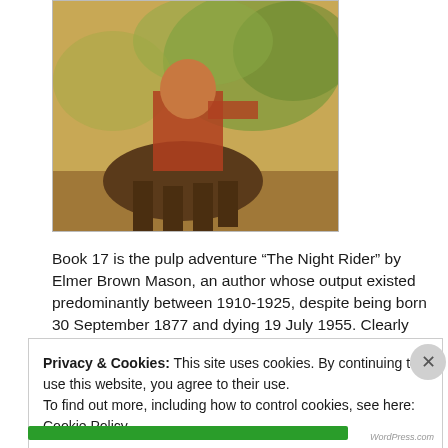[Figure (illustration): Partial view of a pulp adventure book cover showing a horseback rider, with warm orange-brown and green tones. Only the lower portion of the illustration is visible.]
Book 17 is the pulp adventure “The Night Rider” by Elmer Brown Mason, an author whose output existed predominantly between 1910-1925, despite being born 30 September 1877 and dying 19 July 1955. Clearly being an author was not his bread-maker. The Pulp Flakes web-blog has a very detailed history on this author, at the following link, and is damn-well worth the read:
Privacy & Cookies: This site uses cookies. By continuing to use this website, you agree to their use.
To find out more, including how to control cookies, see here: Cookie Policy

Close and accept